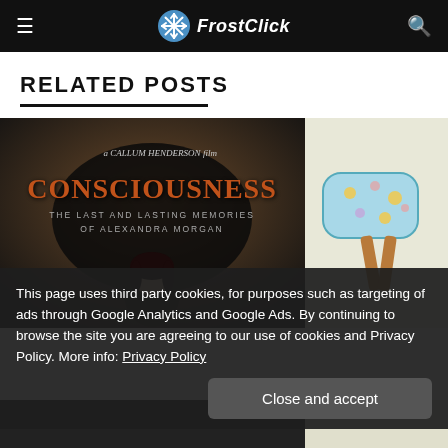FrostClick
RELATED POSTS
[Figure (screenshot): Movie poster for 'Consciousness: The Last and Lasting Memories of Alexandra Morgan', a Callum Henderson film, with dark moody imagery and a person's face below]
[Figure (illustration): Colorful illustration of a decorative chair with floral pattern on yellow and blue tones]
This page uses third party cookies, for purposes such as targeting of ads through Google Analytics and Google Ads. By continuing to browse the site you are agreeing to our use of cookies and Privacy Policy. More info: Privacy Policy
Close and accept